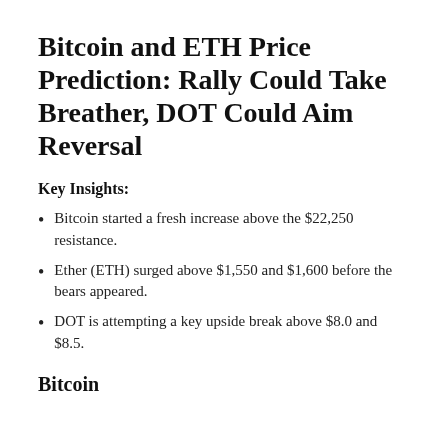Bitcoin and ETH Price Prediction: Rally Could Take Breather, DOT Could Aim Reversal
Key Insights:
Bitcoin started a fresh increase above the $22,250 resistance.
Ether (ETH) surged above $1,550 and $1,600 before the bears appeared.
DOT is attempting a key upside break above $8.0 and $8.5.
Bitcoin